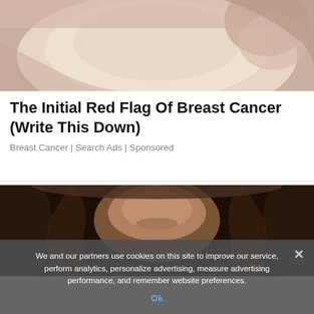[Figure (photo): Close-up photo of a person's chest with hands placed on it, suggesting a breast self-examination context.]
The Initial Red Flag Of Breast Cancer (Write This Down)
Breast Cancer | Search Ads | Sponsored
[Figure (photo): Photo of a woman with dark hair holding her head in distress, eyes closed, appearing to be in pain or discomfort.]
We and our partners use cookies on this site to improve our service, perform analytics, personalize advertising, measure advertising performance, and remember website preferences.
Ok